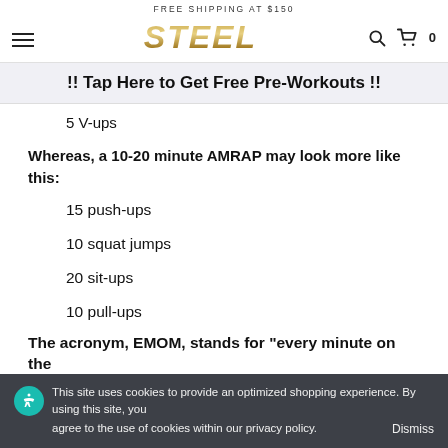FREE SHIPPING AT $150
[Figure (logo): STEEL brand logo in gold metallic italic bold text]
!! Tap Here to Get Free Pre-Workouts !!
5 V-ups
Whereas, a 10-20 minute AMRAP may look more like this:
15 push-ups
10 squat jumps
20 sit-ups
10 pull-ups
The acronym, EMOM, stands for "every minute on the
This site uses cookies to provide an optimized shopping experience. By using this site, you agree to the use of cookies within our privacy policy. Dismiss